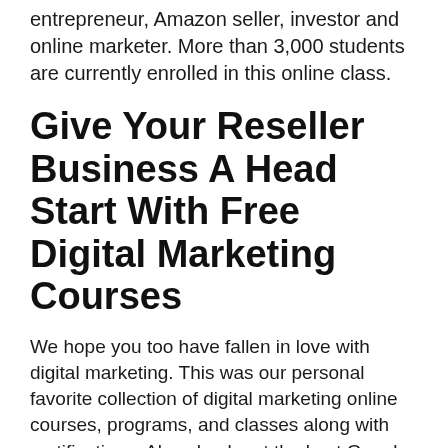entrepreneur, Amazon seller, investor and online marketer. More than 3,000 students are currently enrolled in this online class.
Give Your Reseller Business A Head Start With Free Digital Marketing Courses
We hope you too have fallen in love with digital marketing. This was our personal favorite collection of digital marketing online courses, programs, and classes along with certifications. Also check out the best Google Analytics courses, Facebook Ads tutorials, and affiliate marketing courses. If you think we've missed something, please let us know.